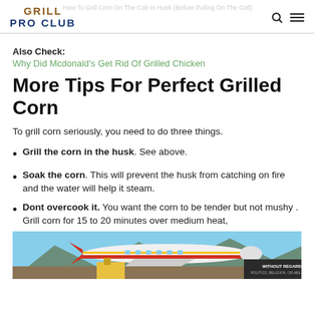GRILL PRO CLUB
Also Check:
Why Did Mcdonald's Get Rid Of Grilled Chicken
More Tips For Perfect Grilled Corn
To grill corn seriously, you need to do three things.
Grill the corn in the husk. See above.
Soak the corn. This will prevent the husk from catching on fire and the water will help it steam.
Dont overcook it. You want the corn to be tender but not mushy . Grill corn for 15 to 20 minutes over medium heat,
[Figure (photo): Advertisement image showing an airplane being loaded with cargo, with an overlay badge reading WITHOUT REGARD TO]